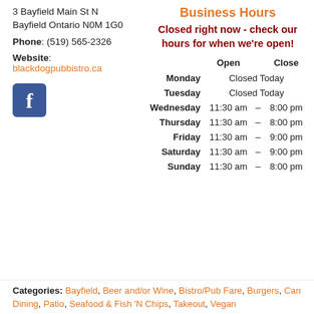3 Bayfield Main St N
Bayfield Ontario N0M 1G0
Phone: (519) 565-2326
Website: blackdogpubbistro.ca
[Figure (logo): Facebook icon — blue square with white 'f']
Business Hours
Closed right now - check our hours for when we're open!
|  | Open | Close |
| --- | --- | --- |
| Monday | Closed Today |  |
| Tuesday | Closed Today |  |
| Wednesday | 11:30 am | 8:00 pm |
| Thursday | 11:30 am | 8:00 pm |
| Friday | 11:30 am | 9:00 pm |
| Saturday | 11:30 am | 9:00 pm |
| Sunday | 11:30 am | 8:00 pm |
Categories: Bayfield, Beer and/or Wine, Bistro/Pub Fare, Burgers, Can… Dining, Patio, Seafood & Fish 'N Chips, Takeout, Vegan…